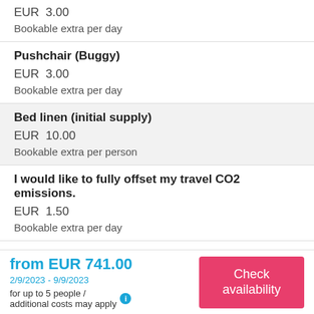EUR  3.00
Bookable extra per day
Pushchair (Buggy)
EUR  3.00
Bookable extra per day
Bed linen (initial supply)
EUR  10.00
Bookable extra per person
I would like to fully offset my travel CO2 emissions.
EUR  1.50
Bookable extra per day
from EUR 741.00
2/9/2023 - 9/9/2023
for up to 5 people / additional costs may apply